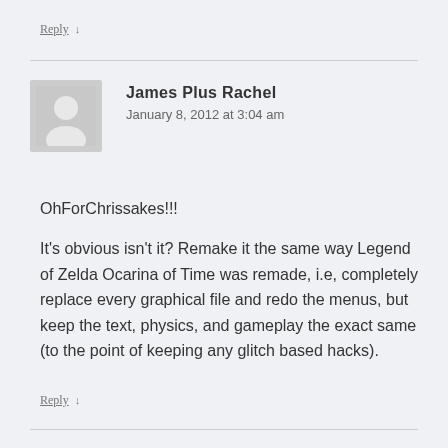Reply ↓
James Plus Rachel
January 8, 2012 at 3:04 am
OhForChrissakes!!!
It's obvious isn't it? Remake it the same way Legend of Zelda Ocarina of Time was remade, i.e, completely replace every graphical file and redo the menus, but keep the text, physics, and gameplay the exact same (to the point of keeping any glitch based hacks).
Reply ↓